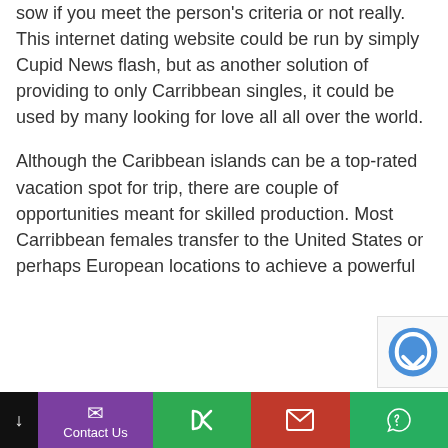sow if you meet the person's criteria or not really. This internet dating website could be run by simply Cupid News flash, but as another solution of providing to only Carribbean singles, it could be used by many looking for love all all over the world.
Although the Caribbean islands can be a top-rated vacation spot for trip, there are couple of opportunities meant for skilled production. Most Carribbean females transfer to the United States or perhaps European locations to achieve a powerful
↓  Contact Us  [phone]  [email]  [whatsapp]